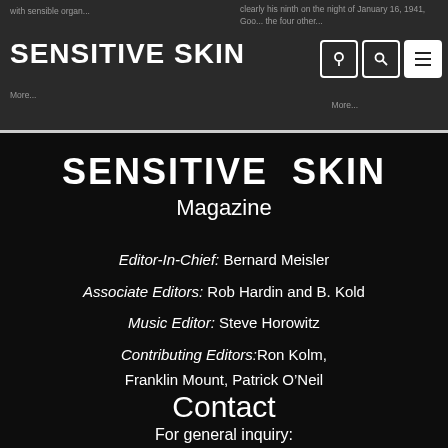Sensitive Skin Magazine
Sensitive Skin
Magazine
Editor-In-Chief: Bernard Meisler
Associate Editors: Rob Hardin and B. Kold
Music Editor: Steve Horowitz
Contributing Editors: Ron Kolm, Franklin Mount, Patrick O'Neil
Contact
For general inquiry: